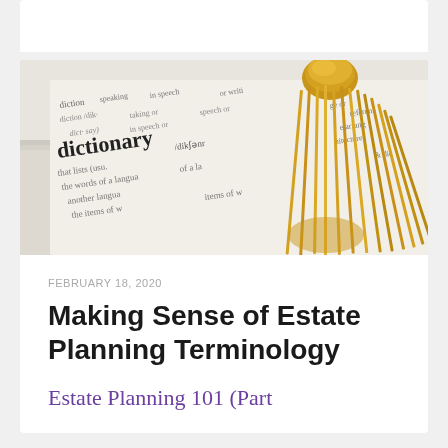[Figure (photo): Close-up photo of an open dictionary page showing the word 'dictionary' with a gold tassel bookmark resting on the page]
FEBRUARY 18, 2020
Making Sense of Estate Planning Terminology
Estate Planning 101 (Part